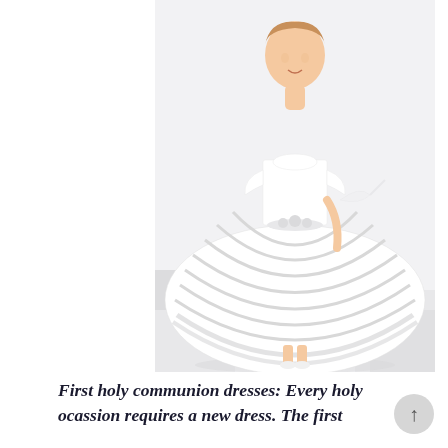[Figure (photo): A young girl wearing a white first holy communion ball gown dress with horizontal stripe pattern on the full skirt, floral waist detail, short sleeves, and a bow at the back. She is posed against a light background with white cube-shaped props/boxes visible on either side.]
First holy communion dresses: Every holy ocassion requires a new dress. The first